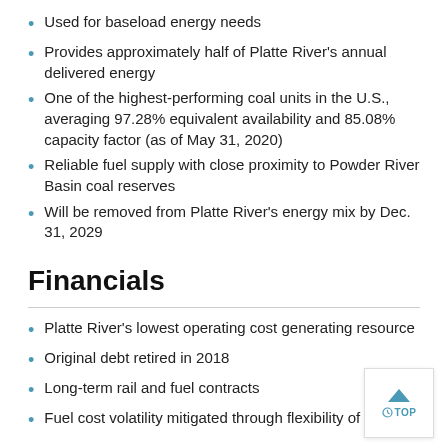Used for baseload energy needs
Provides approximately half of Platte River's annual delivered energy
One of the highest-performing coal units in the U.S., averaging 97.28% equivalent availability and 85.08% capacity factor (as of May 31, 2020)
Reliable fuel supply with close proximity to Powder River Basin coal reserves
Will be removed from Platte River's energy mix by Dec. 31, 2029
Financials
Platte River's lowest operating cost generation resource
Original debt retired in 2018
Long-term rail and fuel contracts
Fuel cost volatility mitigated through flexibility of